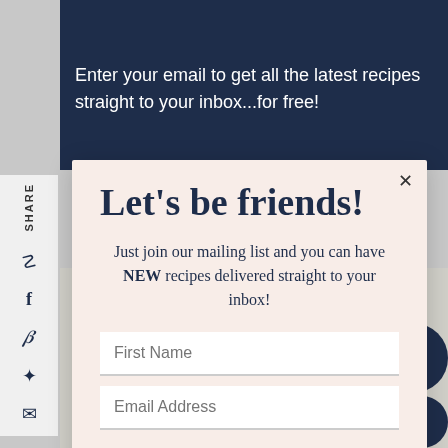Enter your email to get all the latest recipes straight to your inbox...for free!
Let's be friends!
Just join our mailing list and you can have NEW recipes delivered straight to your inbox!
First Name
Email Address
SUBSCRIBE